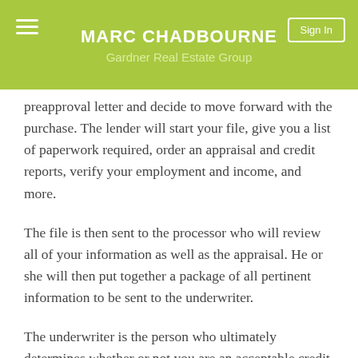MARC CHADBOURNE
Gardner Real Estate Group
preapproval letter and decide to move forward with the purchase. The lender will start your file, give you a list of paperwork required, order an appraisal and credit reports, verify your employment and income, and more.
The file is then sent to the processor who will review all of your information as well as the appraisal. He or she will then put together a package of all pertinent information to be sent to the underwriter.
The underwriter is the person who ultimately determines whether or not you are an acceptable credit risk. He or she will assess your ability to repay the loan, your credit, and the collateral used to secure the mortgage - in this case the collateral is the home. Then, just before funding the loan, the underwriter will